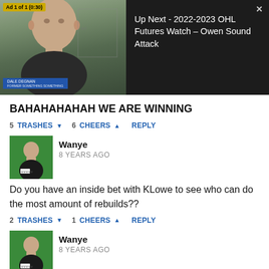[Figure (screenshot): Video player showing an older man on a green background with an ad overlay. Up Next panel shows '2022-2023 OHL Futures Watch – Owen Sound Attack'. Ad label reads 'Ad 1 of 1 (0:30)'.]
BAHAHAHAHAH WE ARE WINNING
5 TRASHES ▾  6 CHEERS ▲  REPLY
[Figure (photo): Avatar of user Wanye - man in black shirt on green background holding a sign]
Wanye
8 YEARS AGO
Do you have an inside bet with KLowe to see who can do the most amount of rebuilds??
2 TRASHES ▾  1 CHEERS ▲  REPLY
[Figure (photo): Avatar of user Wanye - man in black shirt on green background holding a sign]
Wanye
8 YEARS AGO
Everytime you leave a comment like this it refreshes the